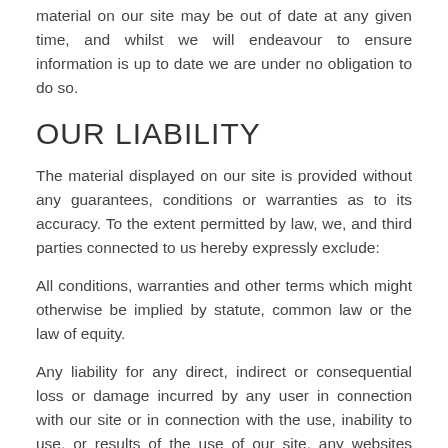material on our site may be out of date at any given time, and whilst we will endeavour to ensure information is up to date we are under no obligation to do so.
OUR LIABILITY
The material displayed on our site is provided without any guarantees, conditions or warranties as to its accuracy. To the extent permitted by law, we, and third parties connected to us hereby expressly exclude:
All conditions, warranties and other terms which might otherwise be implied by statute, common law or the law of equity.
Any liability for any direct, indirect or consequential loss or damage incurred by any user in connection with our site or in connection with the use, inability to use, or results of the use of our site, any websites linked to it and any materials posted on it, including, without limitation any liability for: